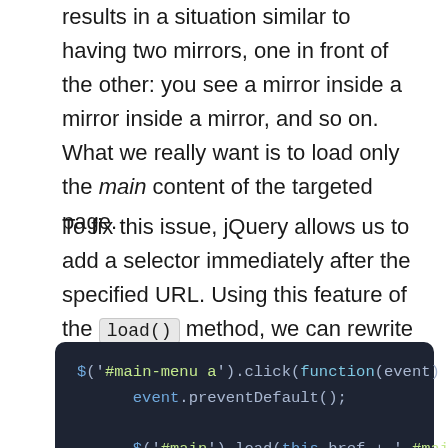results in a situation similar to having two mirrors, one in front of the other: you see a mirror inside a mirror inside a mirror, and so on. What we really want is to load only the main content of the targeted page.
To fix this issue, jQuery allows us to add a selector immediately after the specified URL. Using this feature of the load() method, we can rewrite the previous code as:
[Figure (screenshot): A dark-themed code block showing JavaScript/jQuery code: $('#main-menu a').click(function(event) with event.preventDefault(); and $('#main').load(this.href + ' #mai...]